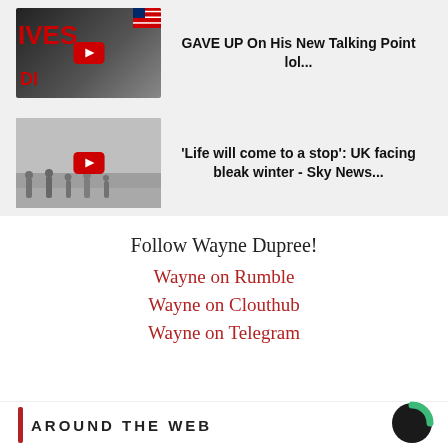[Figure (screenshot): Video thumbnail 1: partially visible, shows person with red text overlay 'IVES' and a play button]
GAVE UP On His New Talking Point lol...
[Figure (screenshot): Video thumbnail 2: snowy scene with people walking, label 'life will come to a stop: UK facing bleak winter']
'Life will come to a stop': UK facing bleak winter - Sky News...
Follow Wayne Dupree!
Wayne on Rumble
Wayne on Clouthub
Wayne on Telegram
AROUND THE WEB